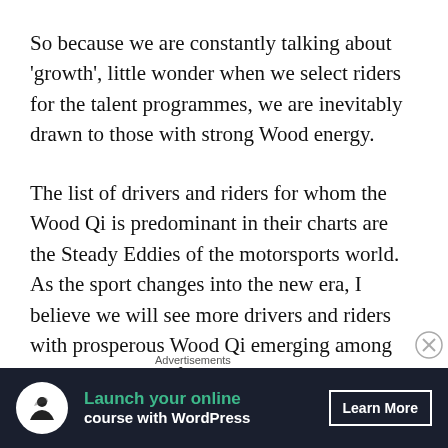So because we are constantly talking about 'growth', little wonder when we select riders for the talent programmes, we are inevitably drawn to those with strong Wood energy.
The list of drivers and riders for whom the Wood Qi is predominant in their charts are the Steady Eddies of the motorsports world. As the sport changes into the new era, I believe we will see more drivers and riders with prosperous Wood Qi emerging among the top phalanx of the sport, simply because they have the aptitude that are naturally appealing to the corporate sponsors
Advertisements
[Figure (other): Advertisement banner: dark navy background with white circular icon showing a tree/person logo, teal bold text 'Launch your online course with WordPress', and a white-bordered 'Learn More' button.]